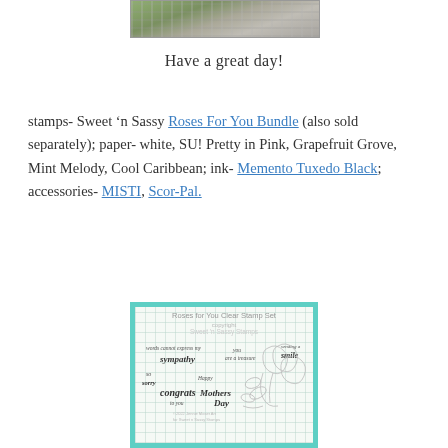[Figure (photo): Partial photo of wood texture and greenery at top of page]
Have a great day!
stamps- Sweet 'n Sassy Roses For You Bundle (also sold separately); paper- white, SU! Pretty in Pink, Grapefruit Grove, Mint Melody, Cool Caribbean; ink- Memento Tuxedo Black; accessories- MISTI, Scor-Pal.
[Figure (photo): Roses for You Clear Stamp Set product image showing stamp set with floral designs and sentiment stamps on grid background with teal border]